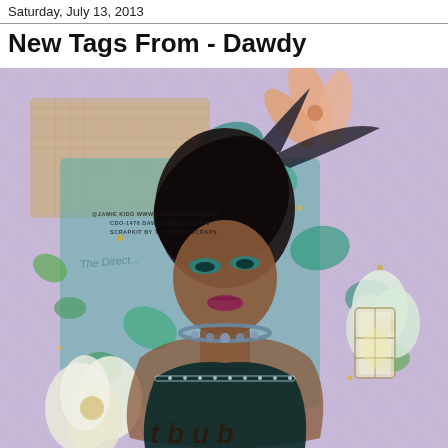Saturday, July 13, 2013
New Tags From - Dawdy
[Figure (illustration): Digital scrapbook art illustration featuring a glamorous woman with dark hair, teal eye makeup, and a birdcage veil hat adorned with a blue rose. She wears a jeweled necklace and dark strapless gown. Surrounding her are flowers (magnolias, lilies), autumn leaves in teal and green, burlap textures, a lantern, and decorative elements. Text watermarks read '@JAMIE KIDD WWW.JAMIEKIDDART.COM / CDO-1476 DAWDYDESIGNS 2013 / SCRAPKIT BY TOOTUPUP SCRAPS'. Background is lavender with subtle floral pattern.]